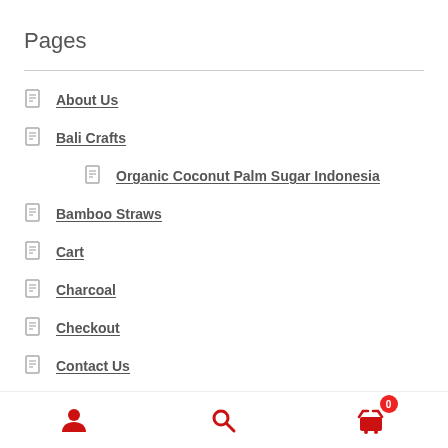Pages
About Us
Bali Crafts
Organic Coconut Palm Sugar Indonesia
Bamboo Straws
Cart
Charcoal
Checkout
Contact Us